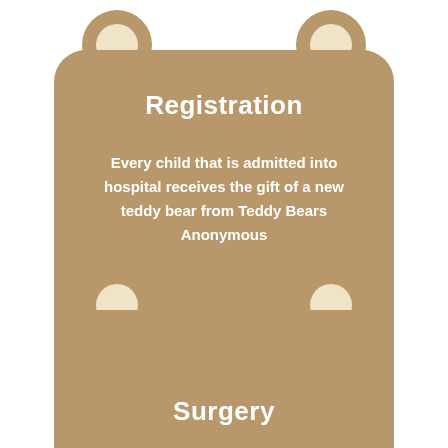[Figure (illustration): Teddy bear shaped card with rounded rectangle body and circular ears. Brown background (#b8976a) with cream inner ears. Contains title 'Registration' and body text about children admitted to hospital receiving teddy bears.]
Registration
Every child that is admitted into hospital receives the gift of a new teddy bear from Teddy Bears Anonymous
[Figure (illustration): Partial teddy bear shaped card (bottom half visible) with brown background and cream inner ears. Contains title 'Surgery'.]
Surgery